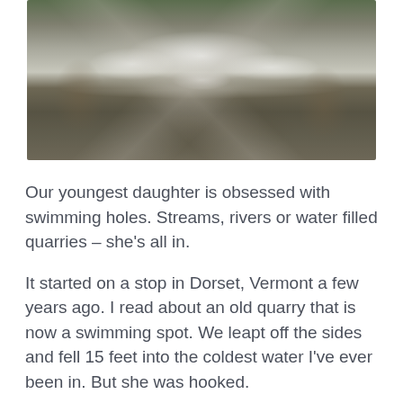[Figure (photo): Aerial or close-up photograph of a waterfall or rapids flowing over flat rock, with white rushing water in the center and brownish-green rocky water on either side]
Our youngest daughter is obsessed with swimming holes.  Streams, rivers or water filled quarries – she's all in.
It started on a stop in Dorset, Vermont a few years ago.  I read about an old quarry that is now a swimming spot.  We leapt off the sides and fell 15 feet into the coldest water I've ever been in.  But she was hooked.